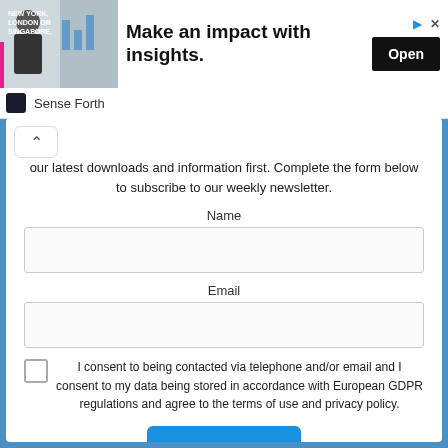[Figure (screenshot): Advertisement banner showing a man in business attire with text 'NEW YORK, LONDON OR SINGAPORE,' beside headline 'Make an impact with insights.' and an Open button, with Sense Forth branding below.]
our latest downloads and information first. Complete the form below to subscribe to our weekly newsletter.
Name
Email
I consent to being contacted via telephone and/or email and I consent to my data being stored in accordance with European GDPR regulations and agree to the terms of use and privacy policy.
Submit